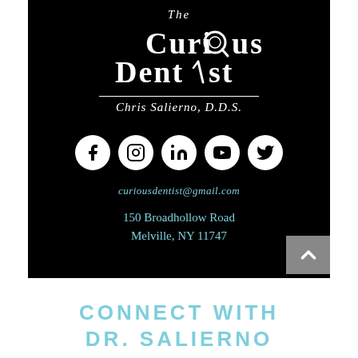[Figure (logo): The Curious Dentist logo with magnifying glass replacing the 'o' in Curious and a dental pick replacing the 'i' in Dentist, white text on black background. Below: Chris Salierno, D.D.S.]
[Figure (infographic): Row of 5 social media icons (Facebook, Instagram, LinkedIn, YouTube, Twitter) as white circles on black background]
curiousdentist@gmail.com
150 Broadhollow Road
Melville, NY 11747
CONNECT WITH DR. SALIERNO